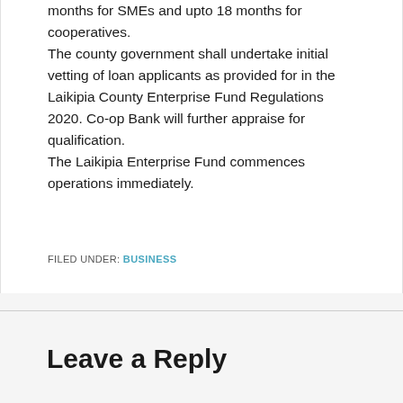months for SMEs and upto 18 months for cooperatives.
The county government shall undertake initial vetting of loan applicants as provided for in the
Laikipia County Enterprise Fund Regulations 2020. Co-op Bank will further appraise for qualification.
The Laikipia Enterprise Fund commences operations immediately.
FILED UNDER: BUSINESS
Leave a Reply